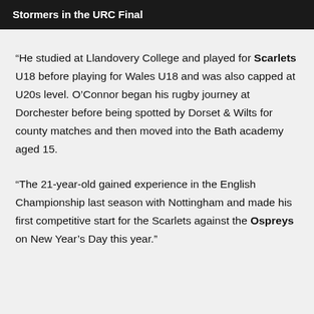Stormers in the URC Final
“He studied at Llandovery College and played for Scarlets U18 before playing for Wales U18 and was also capped at U20s level. O’Connor began his rugby journey at Dorchester before being spotted by Dorset & Wilts for county matches and then moved into the Bath academy aged 15.
“The 21-year-old gained experience in the English Championship last season with Nottingham and made his first competitive start for the Scarlets against the Ospreys on New Year’s Day this year.”